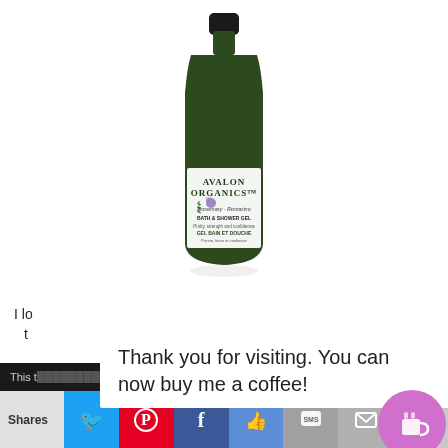[Figure (photo): Avalon Organics Rosemary Bath & Shower Gel product bottle — dark green bottle with black cap, white label showing rosemary sprigs and purple flowers, text reads AVALON ORGANICS BATH & SHOWER GEL / GEL BAIN ET DOUCHE]
I lo...afe for both t...hsing and
Thank you for visiting. You can now buy me a coffee!
This t...websi...
Shares